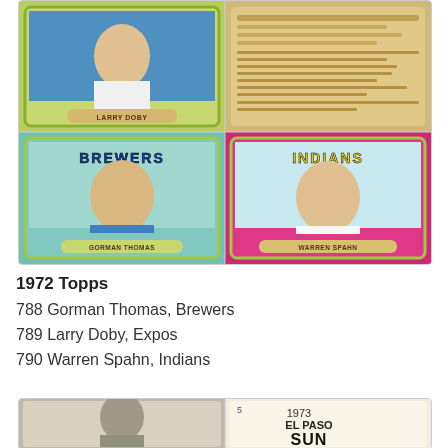[Figure (photo): Four 1972 Topps baseball cards arranged in a 2x2 grid. Top-left: Larry Doby, Expos card with green border. Top-right: Back of a baseball card with statistics. Bottom-left: Gorman Thomas, Brewers card with teal/green border. Bottom-right: Warren Spahn, Indians card with hot pink border.]
1972 Topps
788 Gorman Thomas, Brewers
789 Larry Doby, Expos
790 Warren Spahn, Indians
[Figure (photo): Two cards partially visible at the bottom: left shows a black-and-white photo of a baseball player; right shows a 1973 El Paso Sun Kings card with text '5', '1973', 'EL PASO', 'SUN' visible.]